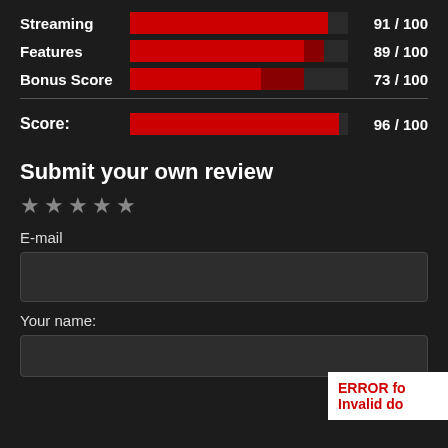[Figure (bar-chart): Score breakdown]
[Figure (bar-chart): Overall Score]
Submit your own review
[Figure (other): 5 star rating widget, all stars grey/unselected]
E-mail
[Figure (other): E-mail input field]
Your name:
[Figure (other): Your name input field]
ERROR fo
Invalid do